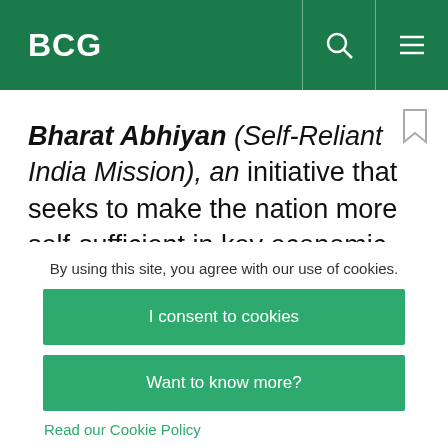BCG
Bharat Abhiyan (Self-Reliant India Mission), an initiative that seeks to make the nation more self-sufficient in key economic sectors.
As a result of these geopolitical, economic, and technological forces—as well as shocks such as
By using this site, you agree with our use of cookies.
I consent to cookies
Want to know more?
Read our Cookie Policy